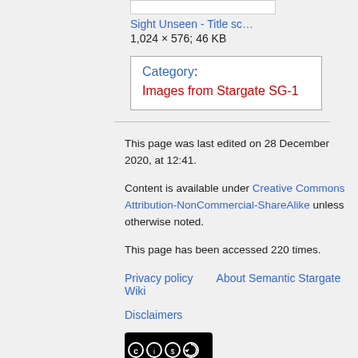Sight Unseen - Title sc…
1,024 × 576; 46 KB
Category: Images from Stargate SG-1
This page was last edited on 28 December 2020, at 12:41.
Content is available under Creative Commons Attribution-NonCommercial-ShareAlike unless otherwise noted.
This page has been accessed 220 times.
Privacy policy    About Semantic Stargate Wiki
Disclaimers
[Figure (logo): Creative Commons BY-NC-SA badge]
[Figure (logo): Powered by MediaWiki logo]
[Figure (logo): Semantic MediaWiki logo]